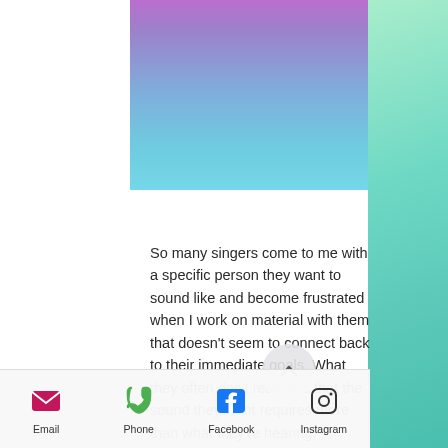[Figure (illustration): Purple to blue gradient banner rectangle at top]
So many singers come to me with a specific person they want to sound like and become frustrated when I work on material with them that doesn't seem to connect back to their immediate goals. What they often don't realize is that the sound they want requires more than what they're hearing. Sometimes the singer they idolize has a strong foundation already established in both their higher range and lower range. They've been cross-training behind the
Email  Phone  Facebook  Instagram